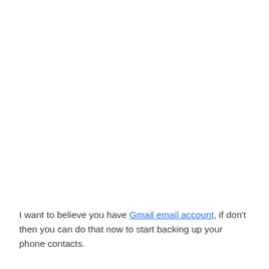I want to believe you have Gmail email account, if don't then you can do that now to start backing up your phone contacts.